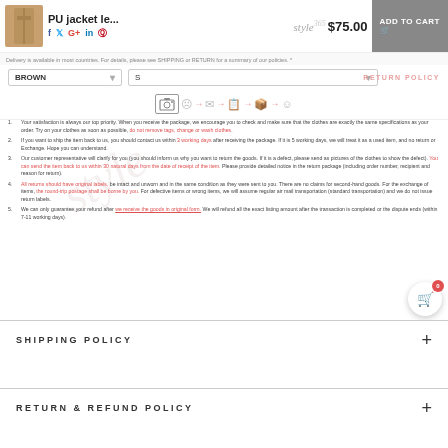PU jacket le... $75.00 ADD TO CART
BROWN | S - Return Policy
[Figure (infographic): Return process icons: camera, sad face, arrow, envelope, arrow, document, arrow, package, arrow, happy face]
1. Your satisfaction is always our top priority. When you receive the package, we encourage you to check and make sure that the clothes are exactly the same specifications as your order. Try on your clothes as soon as possible, do not remove tags, change or wash clothes.
2. If you want to ship the item back to us, you should contact us within 3 working days after receiving the package. If it is 5 working days, we will treat it as a used item, and no return or Exchange. Hope you can understand.
3. Our customer representative will clarify for you (you should inform us why you want to return the goods. If it is a defect, please send as pictures of the clothes to show the defect). You can send the item back to us within 30 natural days from the date of receipt of the item. Please provide detailed notice in the return package (including order number, recipient and reason for return).
4. All returns should have original labels, be intact and unworn and in the same condition as they were sent to you. There are no claims for second-hand goods. For the exchange of items, the round-trip postage shall be borne by you. For defective items or wrong items, we will assume regular air mail transportation (standard transportation) and we do not issue return labels.
5. We can only guarantee your refund after we receive the goods in original form. We will refund all the exact listing amount after the transaction is completed or the dispute ends (within 7-11 working days).
SHIPPING POLICY
RETURN & REFUND POLICY